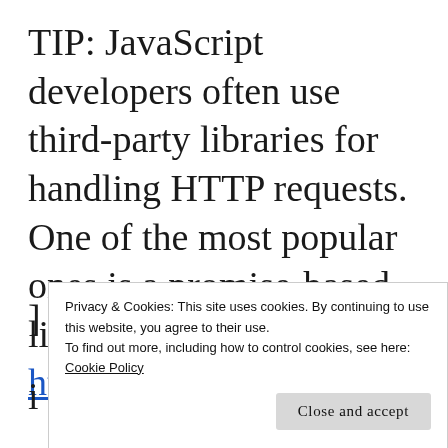TIP: JavaScript developers often use third-party libraries for handling HTTP requests. One of the most popular ones is a promise-based library called Axios (see https://www.npmjs.com/package/axios).
Privacy & Cookies: This site uses cookies. By continuing to use this website, you agree to their use.
To find out more, including how to control cookies, see here: Cookie Policy
Close and accept